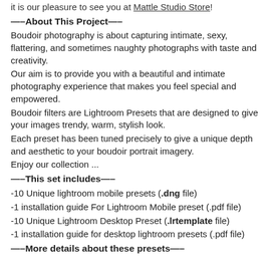it is our pleasure to see you at Mattle Studio Store!
—–About This Project—–
Boudoir photography is about capturing intimate, sexy, flattering, and sometimes naughty photographs with taste and creativity.
Our aim is to provide you with a beautiful and intimate photography experience that makes you feel special and empowered.
Boudoir filters are Lightroom Presets that are designed to give your images trendy, warm, stylish look.
Each preset has been tuned precisely to give a unique depth and aesthetic to your boudoir portrait imagery.
Enjoy our collection ...
—–This set includes—–
-10 Unique lightroom mobile presets (.dng file)
-1 installation guide For Lightroom Mobile preset (.pdf file)
-10 Unique Lightroom Desktop Preset (.lrtemplate file)
-1 installation guide for desktop lightroom presets (.pdf file)
—–More details about these presets—–